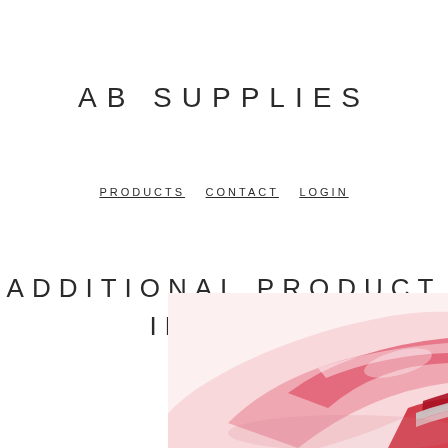AB SUPPLIES
PRODUCTS   CONTACT   LOGIN
ADDITIONAL PRODUCT IMAGES
[Figure (photo): Pink/red cosmetic product smear or gloss texture in the bottom-right corner of the page]